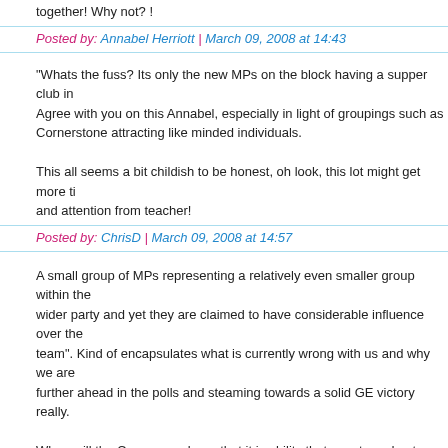together! Why not? !
Posted by: Annabel Herriott | March 09, 2008 at 14:43
"Whats the fuss? Its only the new MPs on the block having a supper club in... Agree with you on this Annabel, especially in light of groupings such as Cornerstone attracting like minded individuals.

This all seems a bit childish to be honest, oh look, this lot might get more ti... and attention from teacher!
Posted by: ChrisD | March 09, 2008 at 14:57
A small group of MPs representing a relatively even smaller group within the wider party and yet they are claimed to have considerable influence over the team". Kind of encapsulates what is currently wrong with us and why we are further ahead in the polls and steaming towards a solid GE victory really.

When will the Cameroons learn that it is ability that counts and not age, eth... or gender? Their discrimination is just as bad as the kind that they so willing... condemn in order to please Polly Toynbee et al.
Posted by: Mr Angry | March 09, 2008 at 14:59